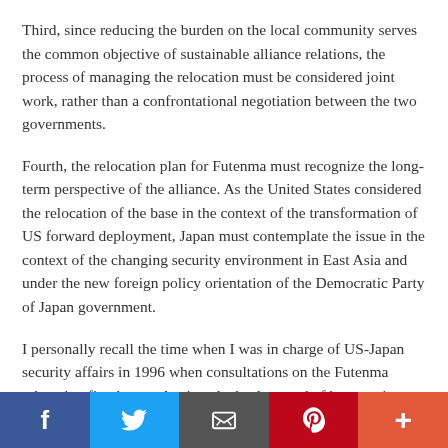Third, since reducing the burden on the local community serves the common objective of sustainable alliance relations, the process of managing the relocation must be considered joint work, rather than a confrontational negotiation between the two governments.
Fourth, the relocation plan for Futenma must recognize the long-term perspective of the alliance. As the United States considered the relocation of the base in the context of the transformation of US forward deployment, Japan must contemplate the issue in the context of the changing security environment in East Asia and under the new foreign policy orientation of the Democratic Party of Japan government.
I personally recall the time when I was in charge of US-Japan security affairs in 1996 when consultations on the Futenma relocation first began. Against the background of huge anti-base protests in Okinawa, it became necessary to consider the US...
f  [twitter]  [email]  p  +